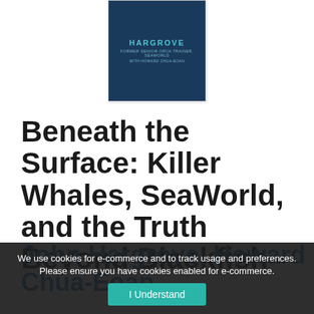[Figure (photo): Book cover of 'Beneath the Surface' by John Hargrove with Howard Chua-Eoan, dark blue background with author name in teal lettering]
Beneath the Surface: Killer Whales, SeaWorld, and the Truth Beyond Blackfish
John Hargrove, Howard Chua-Eoan
We use cookies for e-commerce and to track usage and preferences. Please ensure you have cookies enabled for e-commerce.
I Understand